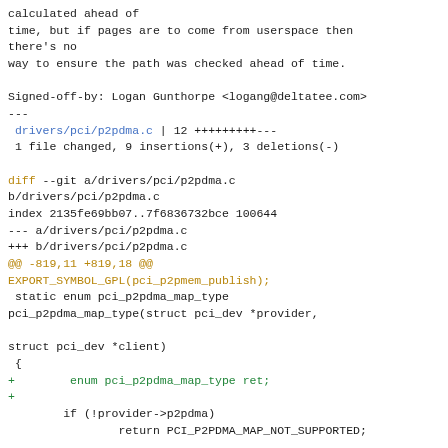calculated ahead of
time, but if pages are to come from userspace then there's no
way to ensure the path was checked ahead of time.

Signed-off-by: Logan Gunthorpe <logang@deltatee.com>
---
 drivers/pci/p2pdma.c | 12 +++++++++---
 1 file changed, 9 insertions(+), 3 deletions(-)

diff --git a/drivers/pci/p2pdma.c
b/drivers/pci/p2pdma.c
index 2135fe69bb07..7f6836732bce 100644
--- a/drivers/pci/p2pdma.c
+++ b/drivers/pci/p2pdma.c
@@ -819,11 +819,18 @@
EXPORT_SYMBOL_GPL(pci_p2pmem_publish);
 static enum pci_p2pdma_map_type
pci_p2pdma_map_type(struct pci_dev *provider,

struct pci_dev *client)
 {
+        enum pci_p2pdma_map_type ret;
+
        if (!provider->p2pdma)
                return PCI_P2PDMA_MAP_NOT_SUPPORTED;

-        return xa_to_value(xa_load(&provider->p2pdma-
>map_types,
-